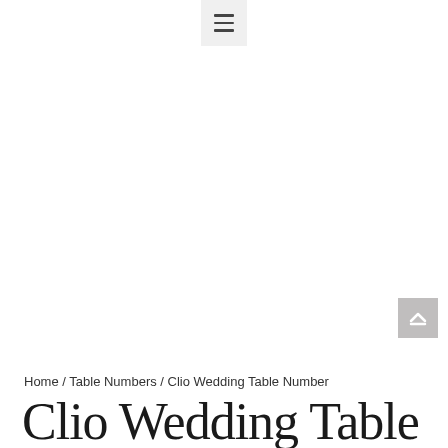[Figure (other): Hamburger menu button (three horizontal lines) on a light gray background, centered at the top of the page]
Home / Table Numbers / Clio Wedding Table Number
Clio Wedding Table